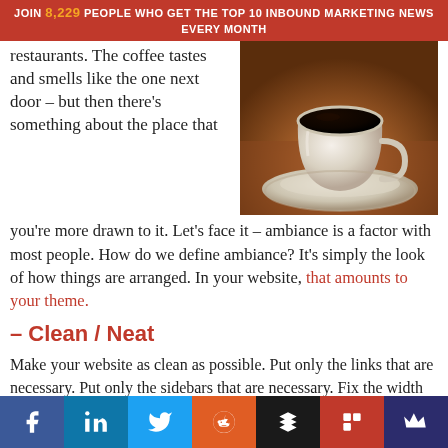JOIN 8,229 PEOPLE WHO GET THE TOP 10 INBOUND MARKETING NEWS EVERY MONTH
restaurants. The coffee tastes and smells like the one next door – but then there's something about the place that you're more drawn to it. Let's face it – ambiance is a factor with most people. How do we define ambiance? It's simply the look of how things are arranged. In your website, that amounts to your theme.
[Figure (photo): A white ceramic coffee cup filled with black coffee on a saucer, placed on a wooden table surface, photographed from above-side angle.]
– Clean / Neat
Make your website as clean as possible. Put only the links that are necessary. Put only the sidebars that are necessary. Fix the width and length of every side so that your website would have that clean and neat ambiance. Who likes drinking coffee (no matter how wonderful it tastes and smells like) in a messy, dirty-looking coffee shop? I'd rather do a drive-through or take-out.